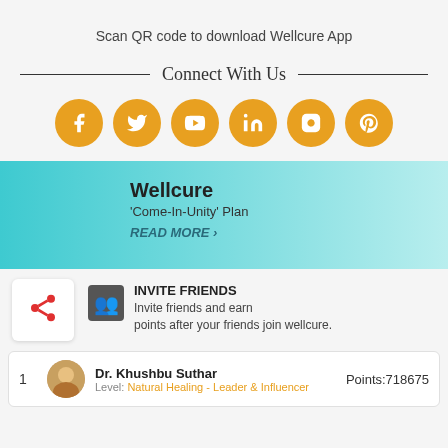Scan QR code to download Wellcure App
Connect With Us
[Figure (infographic): Six social media icons (Facebook, Twitter, YouTube, LinkedIn, Instagram, Pinterest) displayed as golden/amber circular buttons in a row]
[Figure (infographic): Teal gradient banner showing 'Wellcure' heading, 'Come-In-Unity' Plan subtitle, and READ MORE link]
INVITE FRIENDS
Invite friends and earn points after your friends join wellcure.
| Rank | Avatar | Name/Level | Points |
| --- | --- | --- | --- |
| 1 |  | Dr. Khushbu Suthar
Level: Natural Healing - Leader & Influencer | Points:718675 |